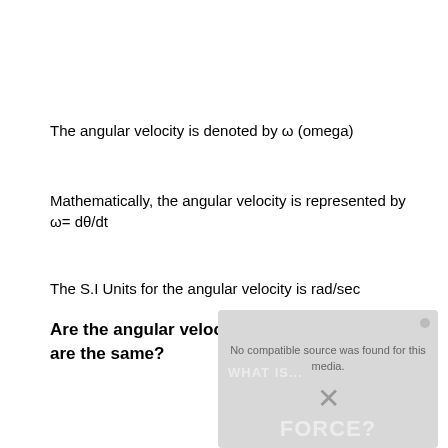The angular velocity is denoted by ω (omega)
Mathematically, the angular velocity is represented by ω= dθ/dt
The S.I Units for the angular velocity is rad/sec
Are the angular velocity and rotational speed are the same?
[Figure (screenshot): Video player overlay showing 'No compatible source was found for this media.' message with a close (X) button and watermark text 'WHAT IS...' and 'FORCE?' in background]